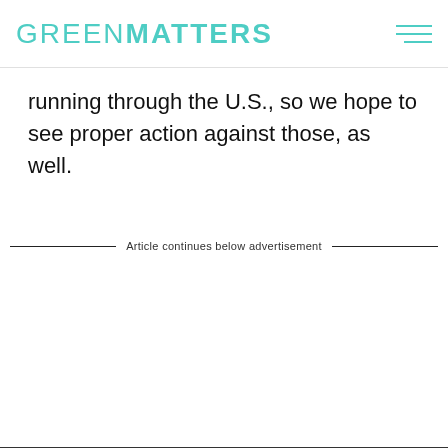GREENMATTERS
running through the U.S., so we hope to see proper action against those, as well.
Article continues below advertisement